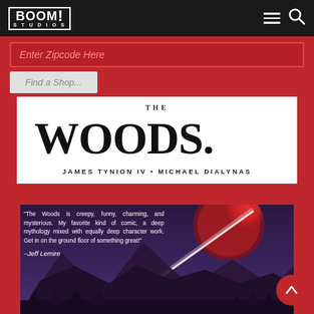BOOM! STUDIOS
Enter Zipcode Here
Find a Shop...
[Figure (illustration): The Woods comic book cover — white panel showing 'THE WOODS' title in large handwritten/brush lettering with authors 'JAMES TYNION IV • MICHAEL DIALYNAS', and below a painted scene of mountains at night with a large red moon and a comet/meteor streaking across a purple-blue sky]
"The Woods is creepy, funny, charming, and mysterious. My favorite kind of comic, a deep mythology mixed with equally deep character work. Get in on the ground floor of something great!" –Jeff Lemire